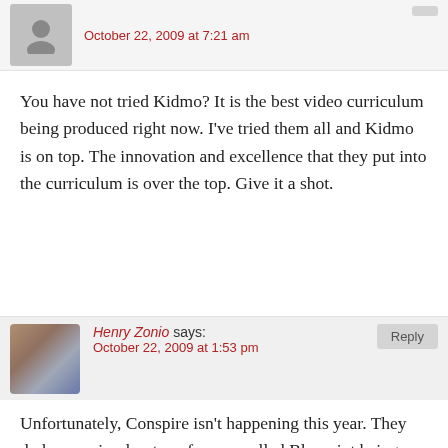October 22, 2009 at 7:21 am
You have not tried Kidmo? It is the best video curriculum being produced right now. I've tried them all and Kidmo is on top. The innovation and excellence that they put into the curriculum is over the top. Give it a shot.
Henry Zonio says:
October 22, 2009 at 1:53 pm
Unfortunately, Conspire isn't happening this year. They do have a simulcast conference called Blueprint being hosted at different churches at the end of April, though, that combines children, students and parenting.
samluce says:
October 22, 2009 at 1:56 pm